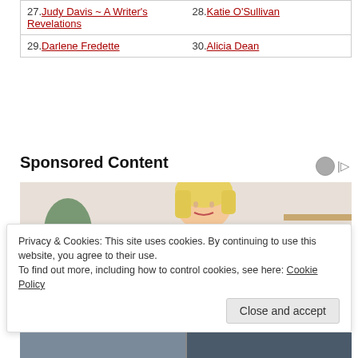| 27. Judy Davis ~ A Writer's Revelations | 28. Katie O'Sullivan |
| 29. Darlene Fredette | 30. Alicia Dean |
Sponsored Content
[Figure (photo): Woman with blonde hair wearing a yellow knitted sweater, looking down at her arm/wrist, seated on a sofa]
Privacy & Cookies: This site uses cookies. By continuing to use this website, you agree to their use.
To find out more, including how to control cookies, see here: Cookie Policy
[Figure (photo): Bottom strip showing partial images]